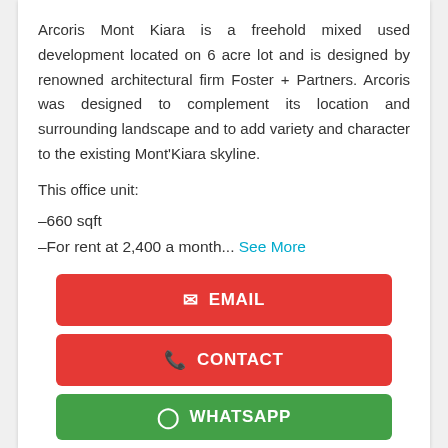Arcoris Mont Kiara is a freehold mixed used development located on 6 acre lot and is designed by renowned architectural firm Foster + Partners. Arcoris was designed to complement its location and surrounding landscape and to add variety and character to the existing Mont'Kiara skyline.
This office unit:
-660 sqft
-For rent at 2,400 a month... See More
EMAIL
CONTACT
WHATSAPP